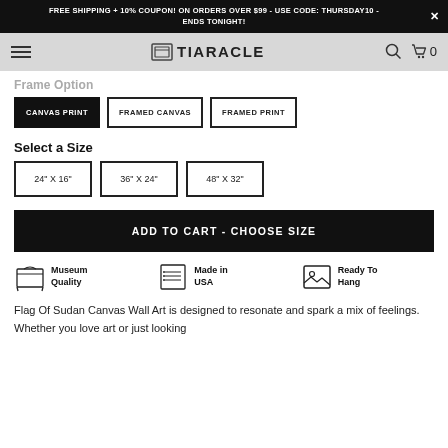FREE SHIPPING + 10% COUPON! ON ORDERS OVER $99 - USE CODE: THURSDAY10 - ENDS TONIGHT!
[Figure (screenshot): Tiaracle website navigation bar with hamburger menu, logo, search and cart icons]
Frame Option
CANVAS PRINT (selected)
FRAMED CANVAS
FRAMED PRINT
Select a Size
24" X 16"
36" X 24"
48" X 32"
ADD TO CART - CHOOSE SIZE
Museum Quality | Made in USA | Ready To Hang
Flag Of Sudan Canvas Wall Art is designed to resonate and spark a mix of feelings. Whether you love art or just looking